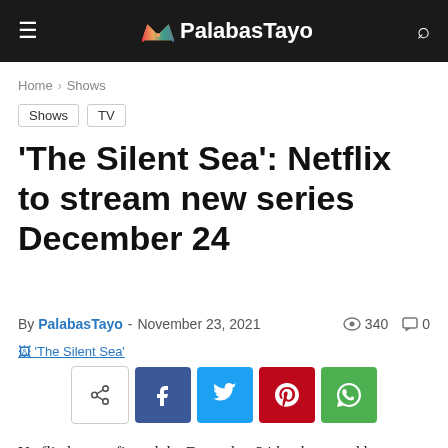PalabasTayo
Home › Shows
Shows  TV
'The Silent Sea': Netflix to stream new series December 24
By PalabasTayo - November 23, 2021  👁 340  💬 0
[Figure (photo): Broken image placeholder for 'The Silent Sea']
[Figure (infographic): Social share buttons: share, Facebook, Twitter, Pinterest, WhatsApp]
Netflix has confirmed the December 24th release and has disclosed the teaser poster for The Silent Sea. Set in the year